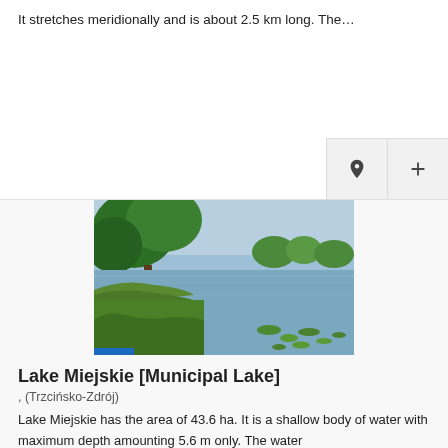It stretches meridionally and is about 2.5 km long. The...
[Figure (map): Map section with location pin and zoom controls (pin icon and + button)]
[Figure (photo): Photograph of Lake Miejskie showing trees on the left, calm reflective water in the center, and lily pads on the right, with a blue sky]
Lake Miejskie [Municipal Lake]
, (Trzcińsko-Zdrój)
Lake Miejskie has the area of 43.6 ha. It is a shallow body of water with maximum depth amounting 5.6 m only. The water